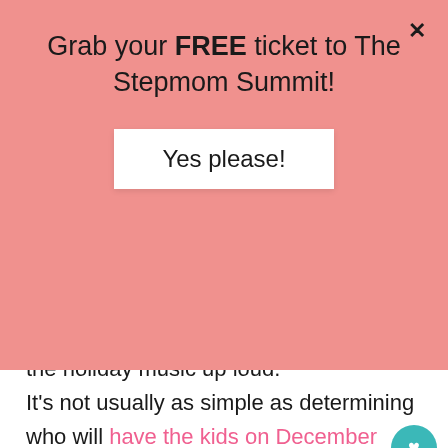Grab your FREE ticket to The Stepmom Summit!
Yes please!
the holiday music up loud.
It’s not usually as simple as determining who will have the kids on December 25th. Usually, there are many more factors to consider before finalizing a holiday schedule. Some stepfamilies want to limit the number of exchanges; others prioritize seeing their children on the actual holiday and choose to